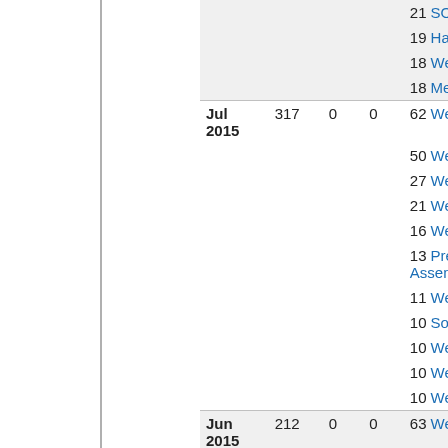| Month | Views | Col3 | Col4 | Top pages |
| --- | --- | --- | --- | --- |
|  |  |  |  | 21 SODAnet |
|  |  |  |  | 19 Hardware |
|  |  |  |  | 18 WebIndex |
|  |  |  |  | 18 MeetingMinutes |
| Jul 2015 | 317 | 0 | 0 | 62 WebStatistics |
|  |  |  |  | 50 WebHome |
|  |  |  |  | 27 WebSearch |
|  |  |  |  | 21 WebIndex |
|  |  |  |  | 16 WebLeftBar |
|  |  |  |  | 13 Pre-AssemblyDAQ |
|  |  |  |  | 11 WebTopicList |
|  |  |  |  | 10 SoDA |
|  |  |  |  | 10 WebNotify |
|  |  |  |  | 10 WebPreferences |
|  |  |  |  | 10 WebChanges |
| Jun 2015 | 212 | 0 | 0 | 63 WebHome |
|  |  |  |  | 21 WebSearch |
|  |  |  |  | 15 WebStatistics |
|  |  |  |  | 11 WebChanges |
|  |  |  |  | 10 WebTopicList |